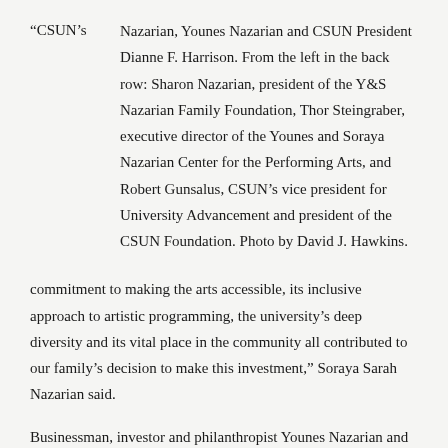“CSUN’s Nazarian, Younes Nazarian and CSUN President Dianne F. Harrison. From the left in the back row: Sharon Nazarian, president of the Y&S Nazarian Family Foundation, Thor Steingraber, executive director of the Younes and Soraya Nazarian Center for the Performing Arts, and Robert Gunsalus, CSUN’s vice president for University Advancement and president of the CSUN Foundation. Photo by David J. Hawkins.
commitment to making the arts accessible, its inclusive approach to artistic programming, the university’s deep diversity and its vital place in the community all contributed to our family’s decision to make this investment,” Soraya Sarah Nazarian said.
Businessman, investor and philanthropist Younes Nazarian and his wife Soraya, an internationally recognized sculptor, said they made the gift — one of the largest in Los Angeles arts history — because the mission of the center aligned seamlessly with the family’s own